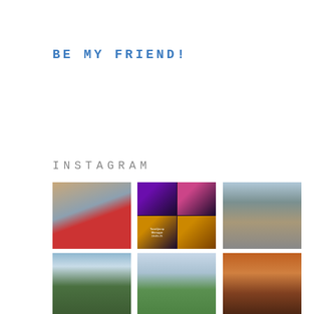BE MY FRIEND!
INSTAGRAM
[Figure (photo): Six Instagram photo thumbnails arranged in a 3x2 grid. Top row: two people in red jackets outdoors in cold weather; a dark collage of four sub-images with purple and gold theatrical scenes; a person hiking on a mountain ridge wearing a hat. Bottom row: a landscape with a tall cloud or smoke column over green hills; a misty green valley with rolling hills; a dark sunset scene over water with silhouettes.]